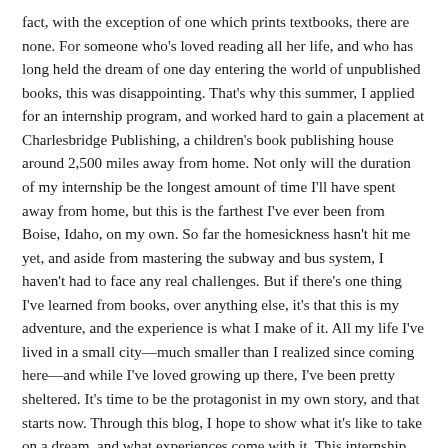fact, with the exception of one which prints textbooks, there are none. For someone who's loved reading all her life, and who has long held the dream of one day entering the world of unpublished books, this was disappointing. That's why this summer, I applied for an internship program, and worked hard to gain a placement at Charlesbridge Publishing, a children's book publishing house around 2,500 miles away from home. Not only will the duration of my internship be the longest amount of time I'll have spent away from home, but this is the farthest I've ever been from Boise, Idaho, on my own. So far the homesickness hasn't hit me yet, and aside from mastering the subway and bus system, I haven't had to face any real challenges. But if there's one thing I've learned from books, over anything else, it's that this is my adventure, and the experience is what I make of it. All my life I've lived in a small city—much smaller than I realized since coming here—and while I've loved growing up there, I've been pretty sheltered. It's time to be the protagonist in my own story, and that starts now. Through this blog, I hope to show what it's like to take on a dream, and what experiences come with it. This internship with Charlesbridge is my first big step into the real world, so I hope you will enjoy learning with me about publishing from the inside.